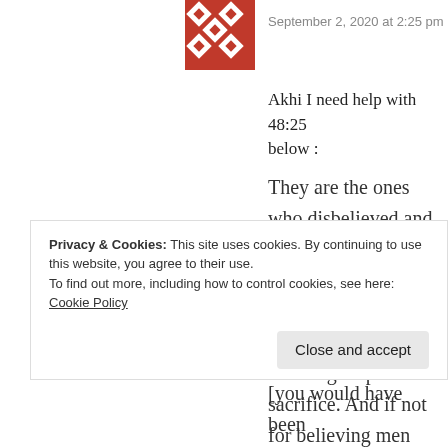[Figure (illustration): Red and white geometric/decorative avatar icon]
September 2, 2020 at 2:25 pm
Akhi I need help with 48:25 below :
They are the ones who disbelieved and obstructed you from al-Masjid al-Haram while the offering was prevented from reaching its place of sacrifice. And if not for believing men and believing women whom you
Privacy & Cookies: This site uses cookies. By continuing to use this website, you agree to their use.
To find out more, including how to control cookies, see here: Cookie Policy
Close and accept
[you would have been